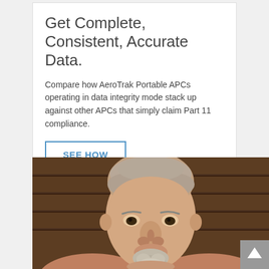Get Complete, Consistent, Accurate Data.
Compare how AeroTrak Portable APCs operating in data integrity mode stack up against other APCs that simply claim Part 11 compliance.
SEE HOW
[Figure (photo): Close-up photo of a bald/shaved-head man with a grey goatee, looking slightly upward, against a dark wood-paneled background. A scroll-to-top button with an upward chevron is visible in the bottom-right corner.]